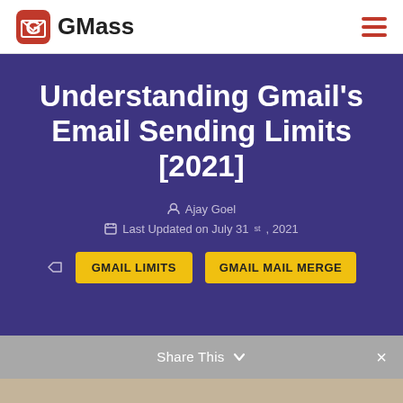GMass
Understanding Gmail's Email Sending Limits [2021]
Ajay Goel
Last Updated on July 31st, 2021
GMAIL LIMITS   GMAIL MAIL MERGE
Share This